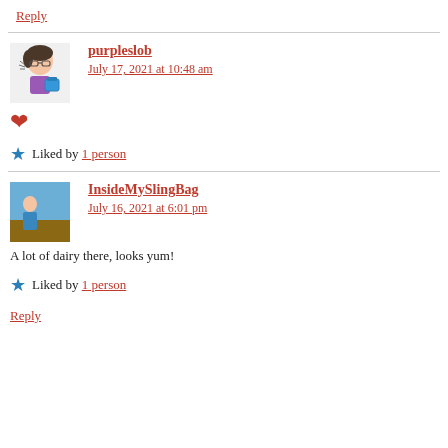Reply
purpleslob
July 17, 2021 at 10:48 am
❤
Liked by 1 person
InsideMySlingBag
July 16, 2021 at 6:01 pm
A lot of dairy there, looks yum!
Liked by 1 person
Reply